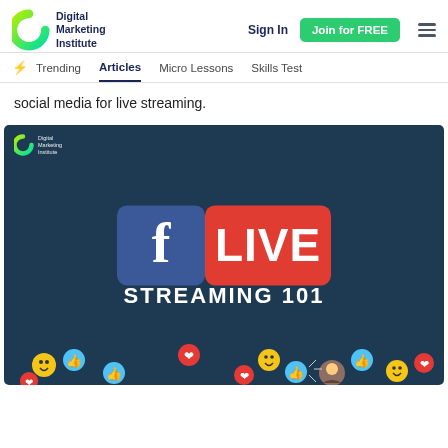Digital Marketing Institute — Sign In | Join for FREE
Trending | Articles | Micro Lessons | Skills Test
social media for live streaming.
[Figure (illustration): Facebook Live Streaming 101 promotional graphic on dark teal background with Facebook 'f' logo, red LIVE badge, text STREAMING 101, and social media reaction emojis (thumbs up, hearts, smiley faces) scattered at the bottom]